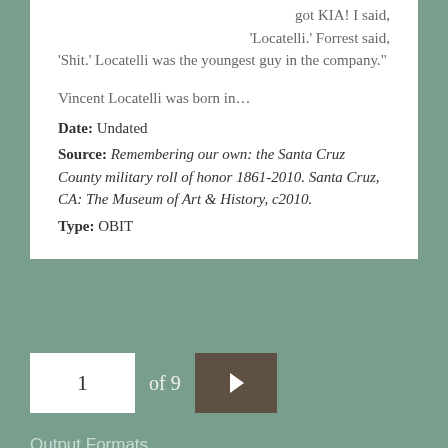got KIA! I said, 'Locatelli.' Forrest said, 'Shit.' Locatelli was the youngest guy in the company."
Vincent Locatelli was born in…
Date: Undated
Source: Remembering our own: the Santa Cruz County military roll of honor 1861-2010. Santa Cruz, CA: The Museum of Art & History, c2010.
Type: OBIT
1 of 9
Output Formats
atom, dcmes-xml, json, omeka-json, omeka-xml, rss2